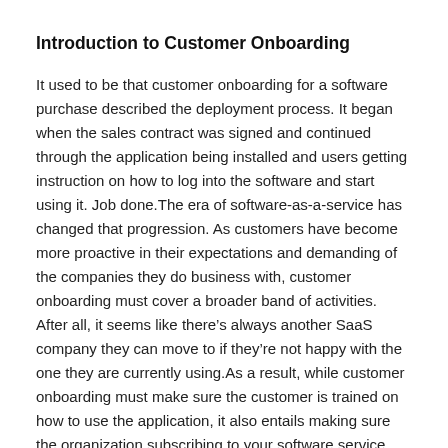Introduction to Customer Onboarding
It used to be that customer onboarding for a software purchase described the deployment process. It began when the sales contract was signed and continued through the application being installed and users getting instruction on how to log into the software and start using it. Job done.The era of software-as-a-service has changed that progression. As customers have become more proactive in their expectations and demanding of the companies they do business with, customer onboarding must cover a broader band of activities. After all, it seems like there’s always another SaaS company they can move to if they’re not happy with the one they are currently using.As a result, while customer onboarding must make sure the customer is trained on how to use the application, it also entails making sure the organization subscribing to your software service has received measurable value from its use —